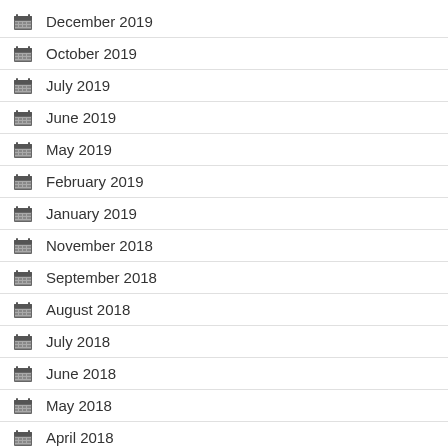December 2019
October 2019
July 2019
June 2019
May 2019
February 2019
January 2019
November 2018
September 2018
August 2018
July 2018
June 2018
May 2018
April 2018